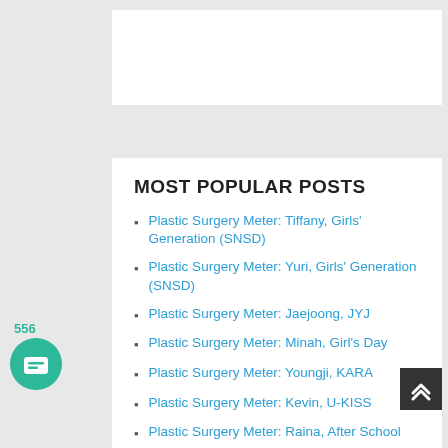MOST POPULAR POSTS
Plastic Surgery Meter: Tiffany, Girls' Generation (SNSD)
Plastic Surgery Meter: Yuri, Girls' Generation (SNSD)
Plastic Surgery Meter: Jaejoong, JYJ
Plastic Surgery Meter: Minah, Girl's Day
Plastic Surgery Meter: Youngji, KARA
Plastic Surgery Meter: Kevin, U-KISS
Plastic Surgery Meter: Raina, After School